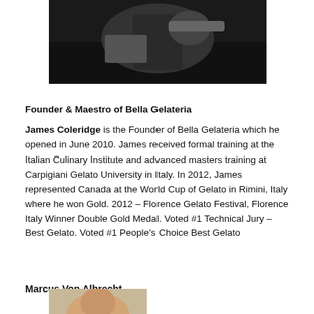[Figure (photo): Black and white photo of hands holding a cup, partially visible at top of page]
Founder & Maestro of Bella Gelateria
James Coleridge is the Founder of Bella Gelateria which he opened in June 2010. James received formal training at the Italian Culinary Institute and advanced masters training at Carpigiani Gelato University in Italy. In 2012, James represented Canada at the World Cup of Gelato in Rimini, Italy where he won Gold. 2012 – Florence Gelato Festival, Florence Italy Winner Double Gold Medal. Voted #1 Technical Jury – Best Gelato. Voted #1 People's Choice Best Gelato
Marcus Von Albrecht
[Figure (photo): Partial photo of a person, bottom of page, color photo showing top of head]